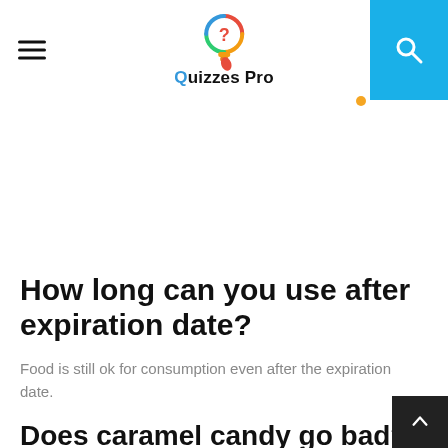Quizzes Pro
[Figure (logo): Quizzes Pro logo with colorful question mark bulb icon]
How long can you use after expiration date?
Food is still ok for consumption even after the expiration date.
Does caramel candy go bad?